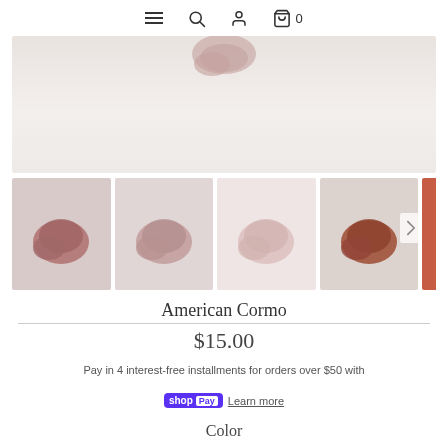Navigation icons: hamburger menu, search, account, cart (0)
[Figure (photo): Main product image showing top of a yarn skein in dusty mauve/pink tones on a white background]
[Figure (photo): Four thumbnail images of yarn skeins in different colorways: dark mauve, medium mauve, light pink, rust/sienna brown. A fifth partial thumbnail is cut off on the right.]
American Cormo
$15.00
Pay in 4 interest-free installments for orders over $50 with
shop Pay   Learn more
Color